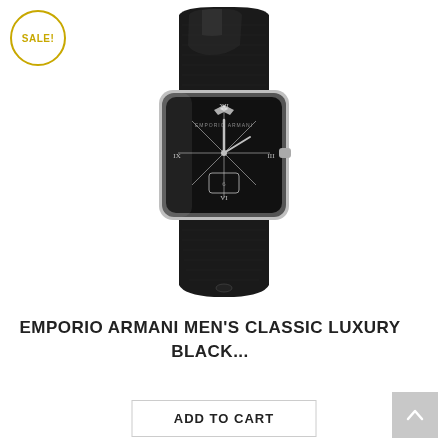[Figure (photo): Emporio Armani men's classic luxury black watch with rectangular black dial, silver Roman numeral markers, eagle logo, black crocodile leather strap, and silver stainless steel case. A 'SALE!' badge appears in the top left corner.]
EMPORIO ARMANI MEN'S CLASSIC LUXURY BLACK...
ADD TO CART